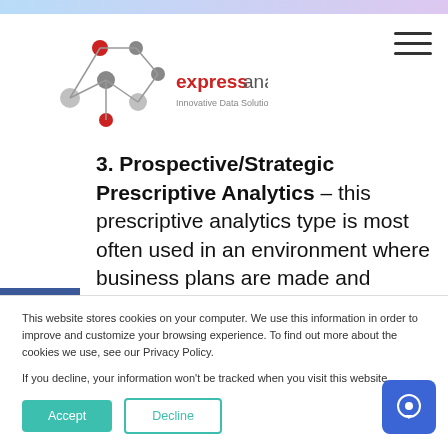[Figure (logo): Express Analytics logo with network node graphic on left and text 'expressanalytics Innovative Data Solutions' on right]
3. Prospective/Strategic Prescriptive Analytics – this prescriptive analytics type is most often used in an environment where business plans are made and implemented with the full understanding of short-term goals.
This website stores cookies on your computer. We use this information in order to improve and customize your browsing experience. To find out more about the cookies we use, see our Privacy Policy.

If you decline, your information won't be tracked when you visit this website.